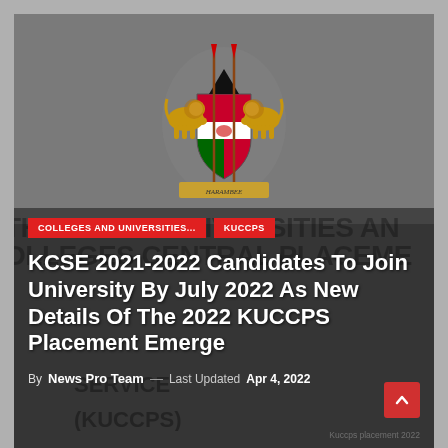[Figure (photo): Kenya coat of arms / national emblem displayed on a gray background, used as the header image for the article about KUCCPS placement.]
COLLEGES AND UNIVERSITIES...
KUCCPS
KCSE 2021-2022 Candidates To Join University By July 2022 As New Details Of The 2022 KUCCPS Placement Emerge
By News Pro Team — Last Updated Apr 4, 2022
Kuccps placement 2022